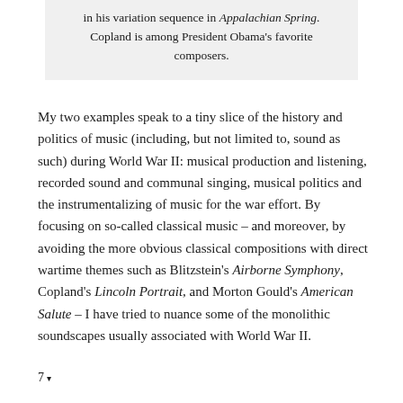in his variation sequence in Appalachian Spring. Copland is among President Obama's favorite composers.
My two examples speak to a tiny slice of the history and politics of music (including, but not limited to, sound as such) during World War II: musical production and listening, recorded sound and communal singing, musical politics and the instrumentalizing of music for the war effort. By focusing on so-called classical music – and moreover, by avoiding the more obvious classical compositions with direct wartime themes such as Blitzstein's Airborne Symphony, Copland's Lincoln Portrait, and Morton Gould's American Salute – I have tried to nuance some of the monolithic soundscapes usually associated with World War II.
7▾